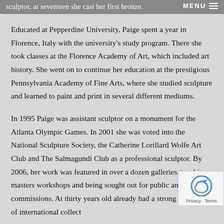sculptor, at seventeen she cast her first bronze.
Educated at Pepperdine University, Paige spent a year in Florence, Italy with the university's study program. There she took classes at the Florence Academy of Art, which included art history. She went on to continue her education at the prestigious Pennsylvania Academy of Fine Arts, where she studied sculpture and learned to paint and print in several different mediums.
In 1995 Paige was assistant sculptor on a monument for the Atlanta Olympic Games. In 2001 she was voted into the National Sculpture Society, the Catherine Lorillard Wolfe Art Club and The Salmagundi Club as a professional sculptor. By 2006, her work was featured in over a dozen galleries, teaching masters workshops and being sought out for public and private commissions. At thirty years old already had a strong following of international collect…
Paige's work is full of dichotomies: both the beautiful and…